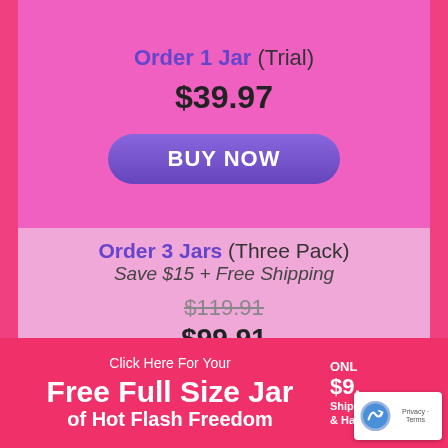Order 1 Jar (Trial)
$39.97
BUY NOW
Order 3 Jars (Three Pack)
Save $15 + Free Shipping
$119.91
$99.91
BUY NOW
Click Here For Your Free Full Size Jar of Hot Flash Freedom
ONLY $9. Shipping & Handling